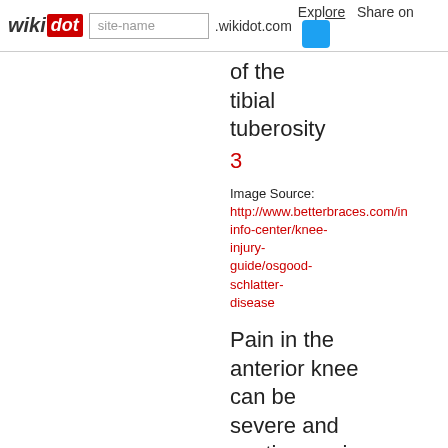wikidot | site-name .wikidot.com | Explore | Share on
of the tibial tuberosity 3
Image Source: http://www.betterbraces.com/info-center/knee-injury-guide/osgood-schlatter-disease
Pain in the anterior knee can be severe and continuous in the acute phase.(bibcite 5) A physician or emergency